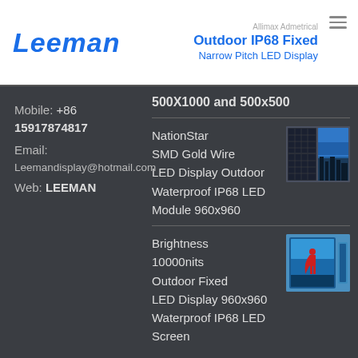Leeman | Outdoor IP68 Fixed Narrow Pitch LED Display
Mobile: +86 15917874817
Email: Leemandisplay@hotmail.com
Web: LEEMAN
500X1000 and 500x500
NationStar SMD Gold Wire LED Display Outdoor Waterproof IP68 LED Module 960x960
[Figure (photo): LED panel/display product photo showing two LED modules]
Brightness 10000nits Outdoor Fixed LED Display 960x960 Waterproof IP68 LED Screen
[Figure (photo): Outdoor LED display product photo showing a large blue LED screen with a figure]